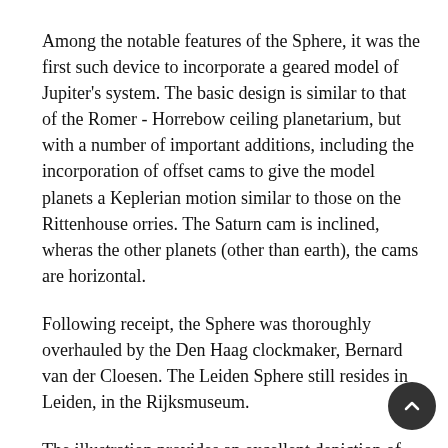Among the notable features of the Sphere, it was the first such device to incorporate a geared model of Jupiter's system. The basic design is similar to that of the Romer - Horrebow ceiling planetarium, but with a number of important additions, including the incorporation of offset cams to give the model planets a Keplerian motion similar to those on the Rittenhouse orries. The Saturn cam is inclined, wheras the other planets (other than earth), the cams are horizontal.
Following receipt, the Sphere was thoroughly overhauled by the Den Haag clockmaker, Bernard van der Cloesen. The Leiden Sphere still resides in Leiden, in the Rijksmuseum.
The illustration provides an excellent depiction of the sphere, although it omits the eccentric collars , but adds a ring for the celestial equator and a spindle that passses upwards throught the sun. There are apparently two editions of the broadside, one in French and Dutch (the present example) and one in English and Dutch. Both are exceedingly rare. The original English translation of the text is as follows:
THE AUTOMATICK OR SELF-MOVING SPHERE, Mended and repair'd by THRASIUS, Which was done by the Invention and